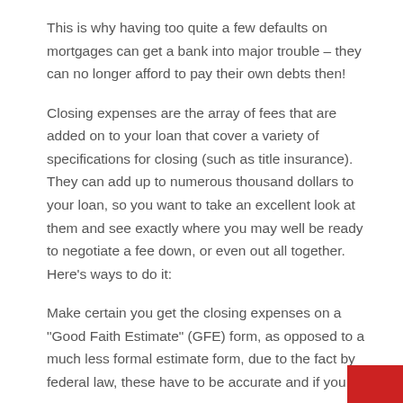This is why having too quite a few defaults on mortgages can get a bank into major trouble – they can no longer afford to pay their own debts then!
Closing expenses are the array of fees that are added on to your loan that cover a variety of specifications for closing (such as title insurance). They can add up to numerous thousand dollars to your loan, so you want to take an excellent look at them and see exactly where you may well be ready to negotiate a fee down, or even out all together. Here's ways to do it:
Make certain you get the closing expenses on a "Good Faith Estimate" (GFE) form, as opposed to a much less formal estimate form, due to the fact by federal law, these have to be accurate and if you